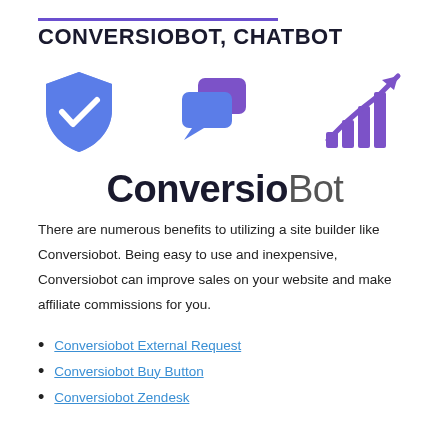CONVERSIOBOT, CHATBOT
[Figure (logo): ConversioBot logo with shield checkmark icon, chat bubble icon, and growth chart icon, with text 'ConversioBot' below]
There are numerous benefits to utilizing a site builder like Conversiobot. Being easy to use and inexpensive, Conversiobot can improve sales on your website and make affiliate commissions for you.
Conversiobot External Request
Conversiobot Buy Button
Conversiobot Zendesk